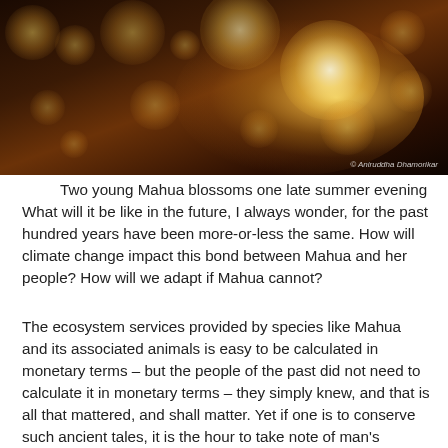[Figure (photo): Bokeh photograph of glowing Mahua blossoms on a dark warm-toned background with golden circular light spots. Photo credit: © Aniruddha Dhamorikar]
Two young Mahua blossoms one late summer evening What will it be like in the future, I always wonder, for the past hundred years have been more-or-less the same. How will climate change impact this bond between Mahua and her people? How will we adapt if Mahua cannot?
The ecosystem services provided by species like Mahua and its associated animals is easy to be calculated in monetary terms – but the people of the past did not need to calculate it in monetary terms – they simply knew, and that is all that mattered, and shall matter. Yet if one is to conserve such ancient tales, it is the hour to take note of man's various bonds with nature.